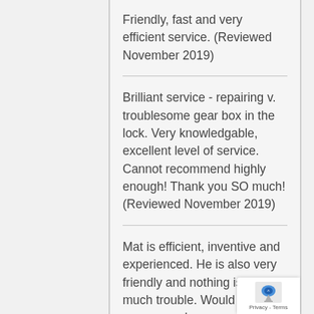Friendly, fast and very efficient service. (Reviewed November 2019)
Brilliant service - repairing v. troublesome gear box in the lock. Very knowledgable, excellent level of service. Cannot recommend highly enough! Thank you SO much! (Reviewed November 2019)
Mat is efficient, inventive and experienced. He is also very friendly and nothing is too much trouble. Would highly recommend